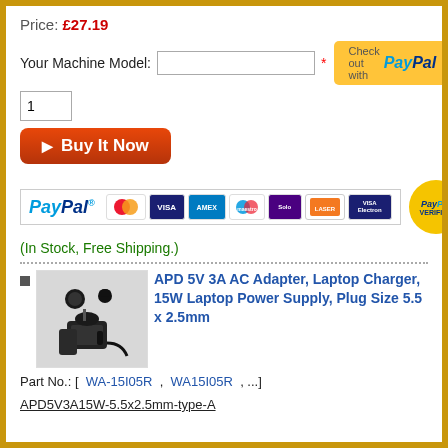Price: £27.19
Your Machine Model: [input field] *
[Figure (screenshot): PayPal checkout button (yellow) with 'Check out with PayPal' text]
[Figure (screenshot): Quantity input box with value 1]
[Figure (screenshot): Buy It Now button (red/brown gradient)]
[Figure (screenshot): PayPal accepted payment methods banner with MasterCard, VISA, AMEX, Maestro, Solo, Laser, VISA Electron cards and PayPal Verified badge]
(In Stock, Free Shipping.)
[Figure (photo): APD 5V 3A AC Adapter laptop charger product photo]
APD 5V 3A AC Adapter, Laptop Charger, 15W Laptop Power Supply, Plug Size 5.5 x 2.5mm
Part No.: [  WA-15I05R  ,  WA15I05R  , ...]
APD5V3A15W-5.5x2.5mm-type-A